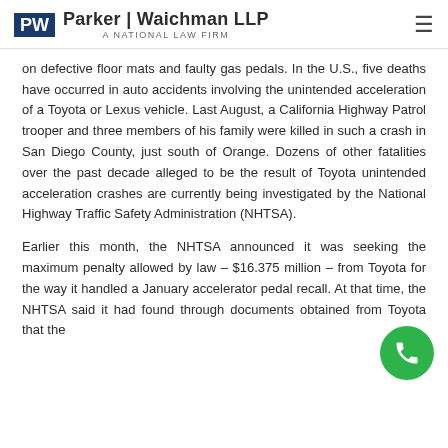Parker | Waichman LLP — A National Law Firm
on defective floor mats and faulty gas pedals. In the U.S., five deaths have occurred in auto accidents involving the unintended acceleration of a Toyota or Lexus vehicle. Last August, a California Highway Patrol trooper and three members of his family were killed in such a crash in San Diego County, just south of Orange. Dozens of other fatalities over the past decade alleged to be the result of Toyota unintended acceleration crashes are currently being investigated by the National Highway Traffic Safety Administration (NHTSA).
Earlier this month, the NHTSA announced it was seeking the maximum penalty allowed by law – $16.375 million – from Toyota for the way it handled a January accelerator pedal recall. At that time, the NHTSA said it had found through documents obtained from Toyota that the